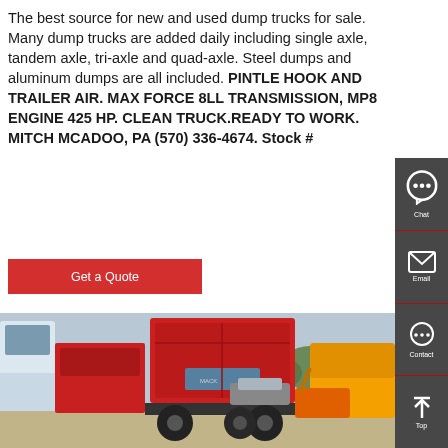The best source for new and used dump trucks for sale. Many dump trucks are added daily including single axle, tandem axle, tri-axle and quad-axle. Steel dumps and aluminum dumps are all included. PINTLE HOOK AND TRAILER AIR. MAX FORCE 8LL TRANSMISSION, MP8 ENGINE 425 HP. CLEAN TRUCK.READY TO WORK. MITCH MCADOO, PA (570) 336-4674. Stock #
Get a Quote
[Figure (photo): Photo of dump trucks in a parking lot or yard, including a red dump truck seen from the rear/side showing the dump body raised, a white truck cab on the left, and a yellow front loader on the right. Multiple vehicles visible in background.]